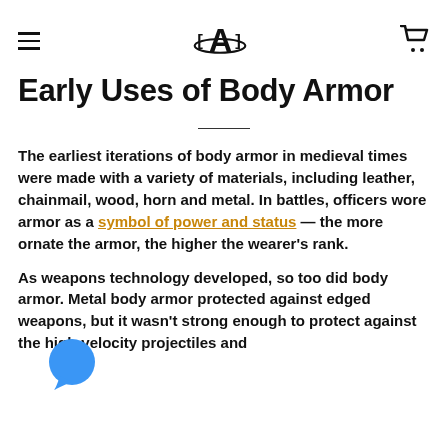Early Uses of Body Armor
Early Uses of Body Armor
The earliest iterations of body armor in medieval times were made with a variety of materials, including leather, chainmail, wood, horn and metal. In battles, officers wore armor as a symbol of power and status — the more ornate the armor, the higher the wearer's rank.
As weapons technology developed, so too did body armor. Metal body armor protected against edged weapons, but it wasn't strong enough to protect against the high-velocity projectiles and